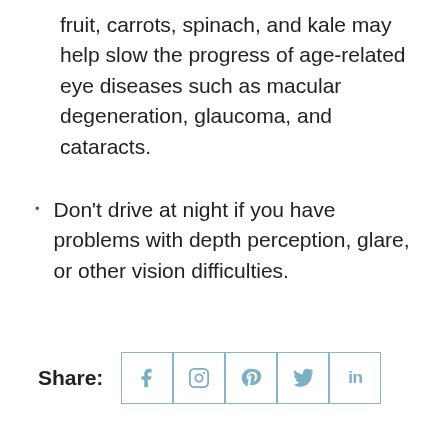fruit, carrots, spinach, and kale may help slow the progress of age-related eye diseases such as macular degeneration, glaucoma, and cataracts.
Don't drive at night if you have problems with depth perception, glare, or other vision difficulties.
[Figure (other): Social share bar with label 'Share:' and five icon buttons: Facebook, Instagram, Pinterest, Twitter, LinkedIn]